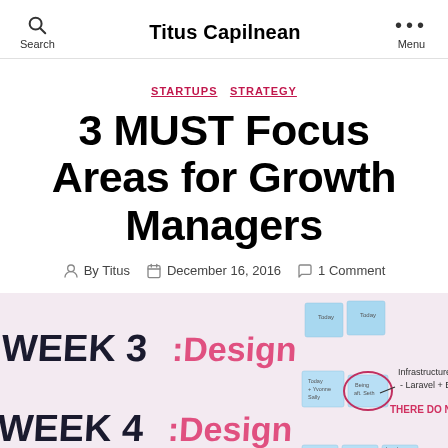Search  Titus Capilnean  Menu
STARTUPS  STRATEGY
3 MUST Focus Areas for Growth Managers
By Titus  December 16, 2016  1 Comment
[Figure (photo): Whiteboard photo showing WEEK 3 :Design and WEEK 4 :Design with sticky notes and handwritten text about Infrastructure Recs: Laravel + Backbone and other planning notes]